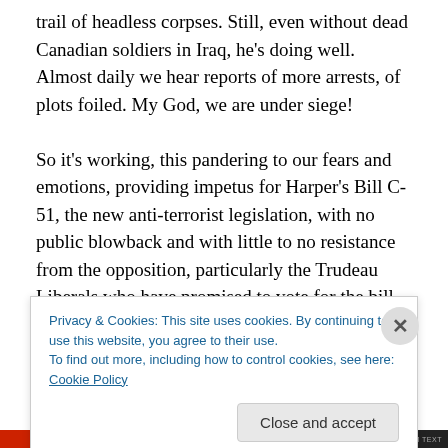trail of headless corpses. Still, even without dead Canadian soldiers in Iraq, he's doing well. Almost daily we hear reports of more arrests, of plots foiled. My God, we are under siege!

So it's working, this pandering to our fears and emotions, providing impetus for Harper's Bill C-51, the new anti-terrorist legislation, with no public blowback and with little to no resistance from the opposition, particularly the Trudeau Liberals who have promised to vote for the bill regardless of its shortcomings. When the bill passes, and
Privacy & Cookies: This site uses cookies. By continuing to use this website, you agree to their use.
To find out more, including how to control cookies, see here: Cookie Policy
Close and accept